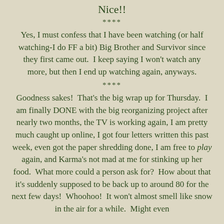Nice!!
****
Yes, I must confess that I have been watching (or half watching-I do FF a bit) Big Brother and Survivor since they first came out.  I keep saying I won't watch any more, but then I end up watching again, anyways.
****
Goodness sakes!  That's the big wrap up for Thursday.  I am finally DONE with the big reorganizing project after nearly two months, the TV is working again, I am pretty much caught up online, I got four letters written this past week, even got the paper shredding done, I am free to play again, and Karma's not mad at me for stinking up her food.  What more could a person ask for?  How about that it's suddenly supposed to be back up to around 80 for the next few days!  Whoohoo!  It won't almost smell like snow in the air for a while.  Might even